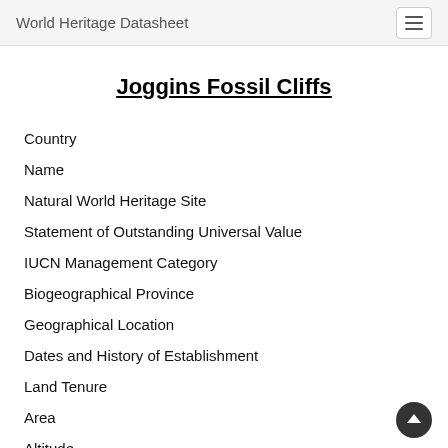World Heritage Datasheet
Joggins Fossil Cliffs
Country
Name
Natural World Heritage Site
Statement of Outstanding Universal Value
IUCN Management Category
Biogeographical Province
Geographical Location
Dates and History of Establishment
Land Tenure
Area
Altitude
Physical Features